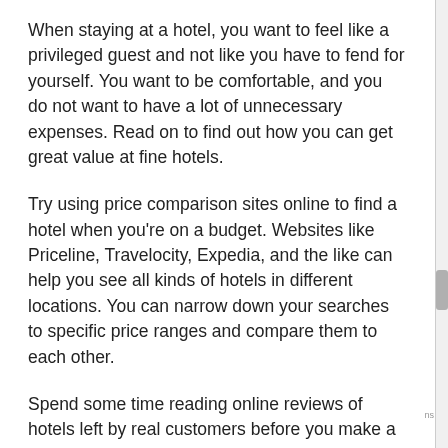When staying at a hotel, you want to feel like a privileged guest and not like you have to fend for yourself. You want to be comfortable, and you do not want to have a lot of unnecessary expenses. Read on to find out how you can get great value at fine hotels.
Try using price comparison sites online to find a hotel when you’re on a budget. Websites like Priceline, Travelocity, Expedia, and the like can help you see all kinds of hotels in different locations. You can narrow down your searches to specific price ranges and compare them to each other.
Spend some time reading online reviews of hotels left by real customers before you make a reservation. These reviews are often your best source of information, since they are written by people who have actually stayed at the hotel. Be sure to pay attention to the most recent reviews, since the hotel may have already addressed older complaints.
You can use hotel search tools on the Internet. These websites